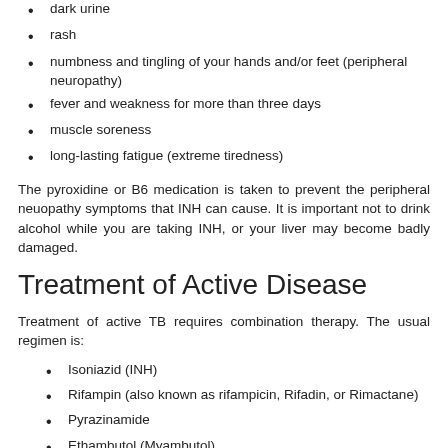dark urine
rash
numbness and tingling of your hands and/or feet (peripheral neuropathy)
fever and weakness for more than three days
muscle soreness
long-lasting fatigue (extreme tiredness)
The pyroxidine or B6 medication is taken to prevent the peripheral neuopathy symptoms that INH can cause. It is important not to drink alcohol while you are taking INH, or your liver may become badly damaged.
Treatment of Active Disease
Treatment of active TB requires combination therapy. The usual regimen is:
Isoniazid (INH)
Rifampin (also known as rifampicin, Rifadin, or Rimactane)
Pyrazinamide
Ethambutol (Myambutol)
These four drugs are taken daily for two months. Tests can be done